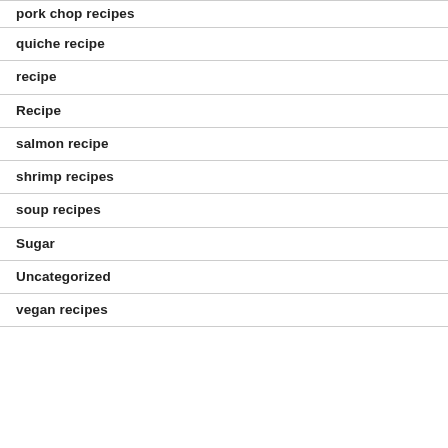pork chop recipes
quiche recipe
recipe
Recipe
salmon recipe
shrimp recipes
soup recipes
Sugar
Uncategorized
vegan recipes